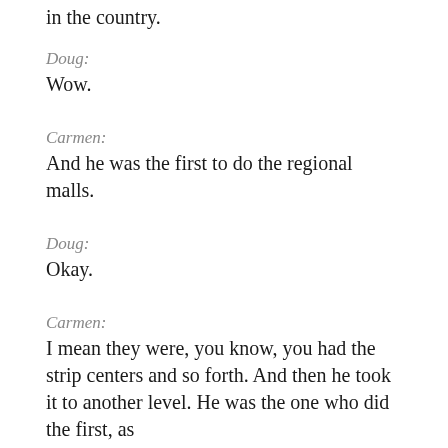in the country.
Doug:
Wow.
Carmen:
And he was the first to do the regional malls.
Doug:
Okay.
Carmen:
I mean they were, you know, you had the strip centers and so forth. And then he took it to another level. He was the one who did the first, as I…